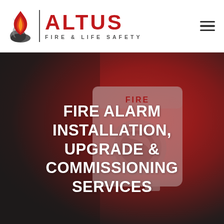[Figure (logo): Altus Fire & Life Safety logo with flame icon, vertical divider, ALTUS text in red, and FIRE & LIFE SAFETY subtitle]
[Figure (photo): Fire alarm strobe/sounder device with FIRE label on white housing, overlaid with dark-to-red gradient; hero banner image]
FIRE ALARM INSTALLATION, UPGRADE & COMMISSIONING SERVICES